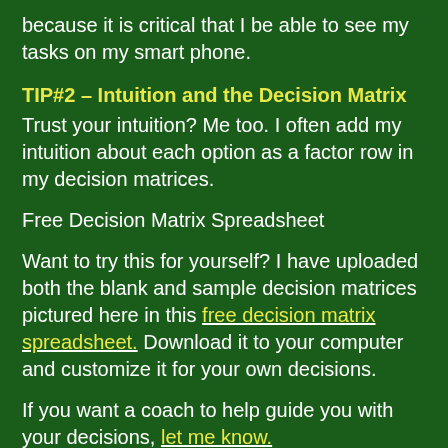because it is critical that I be able to see my tasks on my smart phone.
TIP#2 – Intuition and the Decision Matrix
Trust your intuition? Me too. I often add my intuition about each option as a factor row in my decision matrices.
Free Decision Matrix Spreadsheet
Want to try this for yourself? I have uploaded both the blank and sample decision matrices pictured here in this free decision matrix spreadsheet. Download it to your computer and customize it for your own decisions.
If you want a coach to help guide you with your decisions, let me know.